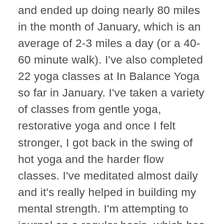and ended up doing nearly 80 miles in the month of January, which is an average of 2-3 miles a day (or a 40-60 minute walk). I've also completed 22 yoga classes at In Balance Yoga so far in January. I've taken a variety of classes from gentle yoga, restorative yoga and once I felt stronger, I got back in the swing of hot yoga and the harder flow classes. I've meditated almost daily and it's really helped in building my mental strength. I'm attempting to journal on a regular basis, which has also been helpful in recovery. I even made a "vision board" to highlight my goals for 2019. I've amped up my baking game and am super proud of this vegan carrot cake I made recently. These are all super "yin"